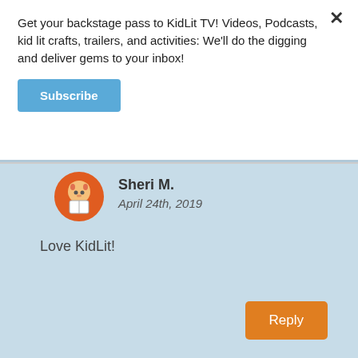Get your backstage pass to KidLit TV! Videos, Podcasts, kid lit crafts, trailers, and activities: We'll do the digging and deliver gems to your inbox!
Subscribe
Sheri M.
April 24th, 2019
Love KidLit!
Reply
[Figure (illustration): Round avatar with orange background showing cartoon fox/raccoon reading a book]
Julie Gribble
[Figure (illustration): Round avatar with woman's photo/illustration]